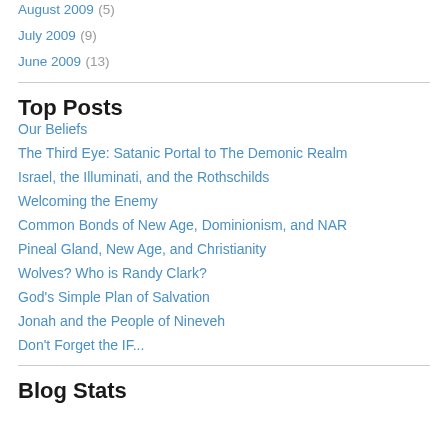August 2009 (5)
July 2009 (9)
June 2009 (13)
Top Posts
Our Beliefs
The Third Eye: Satanic Portal to The Demonic Realm
Israel, the Illuminati, and the Rothschilds
Welcoming the Enemy
Common Bonds of New Age, Dominionism, and NAR
Pineal Gland, New Age, and Christianity
Wolves? Who is Randy Clark?
God's Simple Plan of Salvation
Jonah and the People of Nineveh
Don't Forget the IF...
Blog Stats